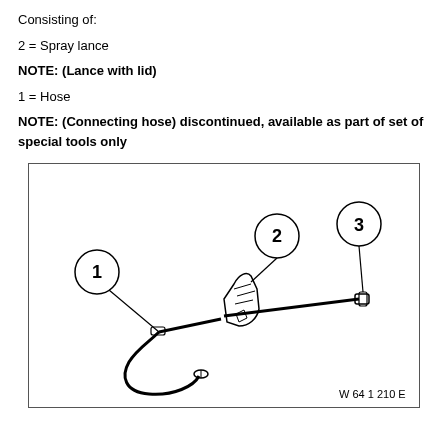Consisting of:
2 = Spray lance
NOTE: (Lance with lid)
1 = Hose
NOTE: (Connecting hose) discontinued, available as part of set of special tools only
[Figure (engineering-diagram): Technical illustration of a spray lance assembly with numbered callouts: 1 = Hose (flexible hose with connector at bottom), 2 = Spray lance body (hand-held sprayer head), 3 = small fitting/cap on the end of the lance rod. Parts labeled with circled numbers. Caption: W 64 1 210 E]